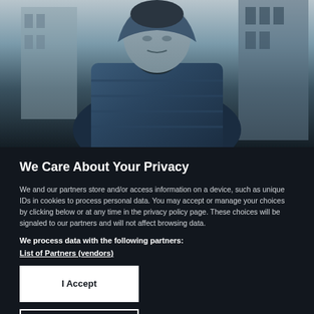[Figure (photo): A person wearing a dark blue puffer jacket standing in front of a building, photo in cool blue-grey tones partially visible at top of page]
We Care About Your Privacy
We and our partners store and/or access information on a device, such as unique IDs in cookies to process personal data. You may accept or manage your choices by clicking below or at any time in the privacy policy page. These choices will be signaled to our partners and will not affect browsing data.
We process data with the following partners:
List of Partners (vendors)
I Accept
Manage Cookies